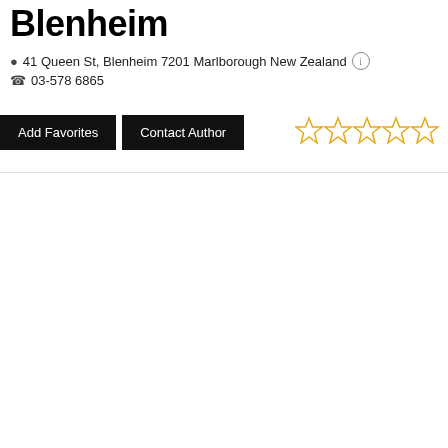Blenheim
41 Queen St, Blenheim 7201 Marlborough New Zealand
03-578 6865
Add Favorites  Contact Author
[Figure (other): Five empty star rating icons in orange/gold outline style]